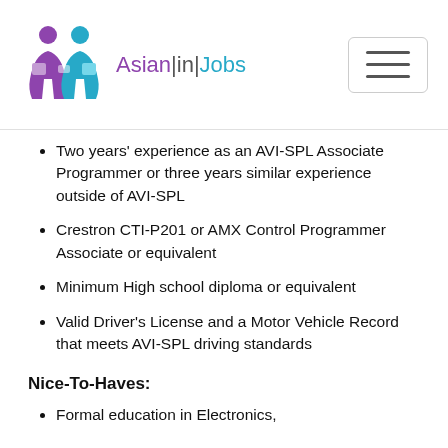Asian|in|Jobs
Two years' experience as an AVI-SPL Associate Programmer or three years similar experience outside of AVI-SPL
Crestron CTI-P201 or AMX Control Programmer Associate or equivalent
Minimum High school diploma or equivalent
Valid Driver's License and a Motor Vehicle Record that meets AVI-SPL driving standards
Nice-To-Haves:
Formal education in Electronics,